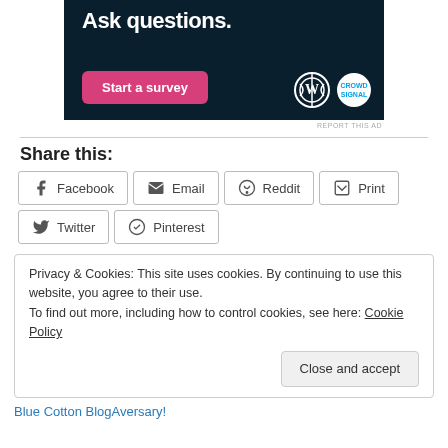[Figure (illustration): Dark navy advertisement banner with 'Ask questions.' title, pink 'Start a survey' button, WordPress and CrowdSignal logos]
REPORT THIS AD
Share this:
Facebook
Email
Reddit
Print
Twitter
Pinterest
Privacy & Cookies: This site uses cookies. By continuing to use this website, you agree to their use.
To find out more, including how to control cookies, see here: Cookie Policy
Close and accept
Blue Cotton BlogAversary!